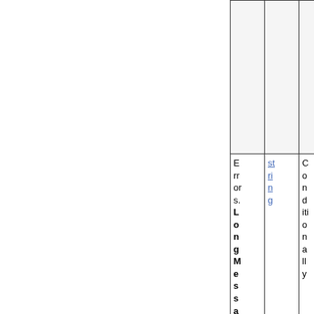|  | string | Conditionally |
| Errors.LongMessage | string | Conditionally |